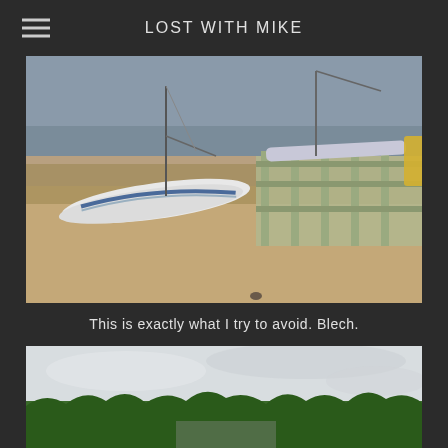LOST WITH MIKE
[Figure (photo): Catamarans and small sailboats pulled up on a sandy beach, with a wooden dock/rack structure visible on the right side. Overcast sky and calm water in the background.]
This is exactly what I try to avoid. Blech.
[Figure (photo): Partial view of a road or landscape with green trees and an overcast sky, partially cropped at bottom of page.]